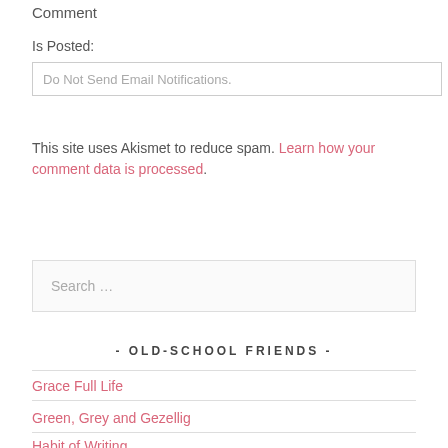Comment
Is Posted:
Do Not Send Email Notifications.
This site uses Akismet to reduce spam. Learn how your comment data is processed.
Search …
- OLD-SCHOOL FRIENDS -
Grace Full Life
Green, Grey and Gezellig
Habit of Writing